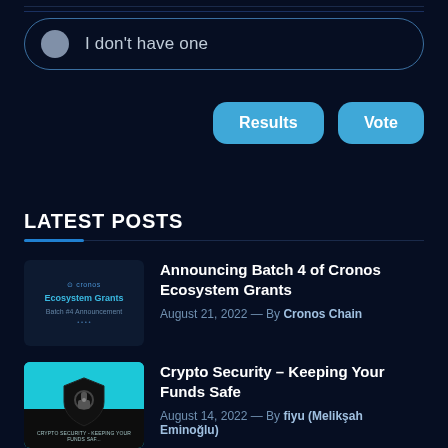I don't have one
Results
Vote
LATEST POSTS
Announcing Batch 4 of Cronos Ecosystem Grants
August 21, 2022 — By Cronos Chain
Crypto Security – Keeping Your Funds Safe
August 14, 2022 — By fiyu (Melikşah Eminoğlu)